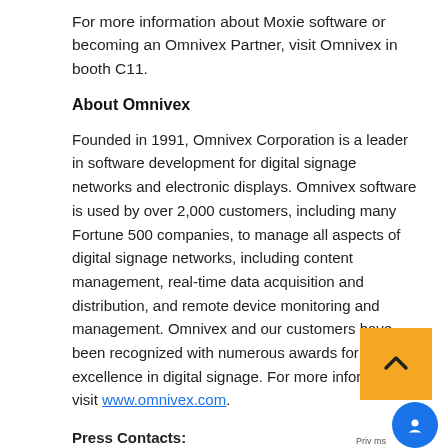For more information about Moxie software or becoming an Omnivex Partner, visit Omnivex in booth C11.
About Omnivex
Founded in 1991, Omnivex Corporation is a leader in software development for digital signage networks and electronic displays. Omnivex software is used by over 2,000 customers, including many Fortune 500 companies, to manage all aspects of digital signage networks, including content management, real-time data acquisition and distribution, and remote device monitoring and management. Omnivex and our customers have been recognized with numerous awards for excellence in digital signage. For more information, visit www.omnivex.com.
Press Contacts: Elizabeth Cartan Marketing Manager Omnivex Corporation 905.761.6640